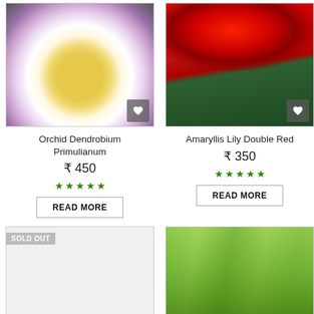[Figure (photo): Close-up of an Orchid Dendrobium Primulianum flower with pale purple petals and yellow center]
[Figure (photo): Amaryllis Lily Double Red flowers in vibrant red with green leaves]
Orchid Dendrobium Primulianum
₹ 450
★★★★★
READ MORE
Amaryllis Lily Double Red
₹ 350
★★★★★
READ MORE
SOLD OUT
[Figure (photo): Sold out product - partially visible, white background]
[Figure (photo): Green leafy plant partially visible at bottom right]